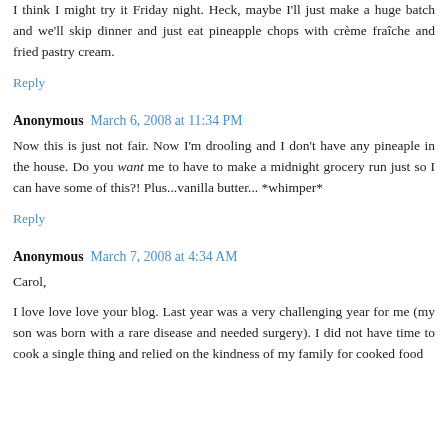I think I might try it Friday night. Heck, maybe I'll just make a huge batch and we'll skip dinner and just eat pineapple chops with crème fraîche and fried pastry cream.
Reply
Anonymous  March 6, 2008 at 11:34 PM
Now this is just not fair. Now I'm drooling and I don't have any pineaple in the house. Do you want me to have to make a midnight grocery run just so I can have some of this?! Plus...vanilla butter... *whimper*
Reply
Anonymous  March 7, 2008 at 4:34 AM
Carol,
I love love love your blog. Last year was a very challenging year for me (my son was born with a rare disease and needed surgery). I did not have time to cook a single thing and relied on the kindness of my family for cooked food